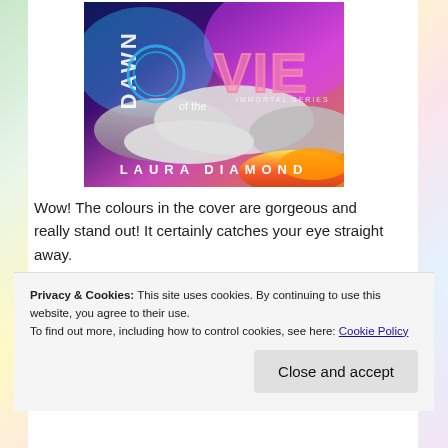[Figure (illustration): Book cover of 'Dawn of the Vie' by Laura Diamond featuring colorful cosmic imagery with clouds, fire, and sci-fi typography]
Wow! The colours in the cover are gorgeous and really stand out! It certainly catches your eye straight away.
You can also tell just by looking at it that the story is
Privacy & Cookies: This site uses cookies. By continuing to use this website, you agree to their use. To find out more, including how to control cookies, see here: Cookie Policy
Close and accept